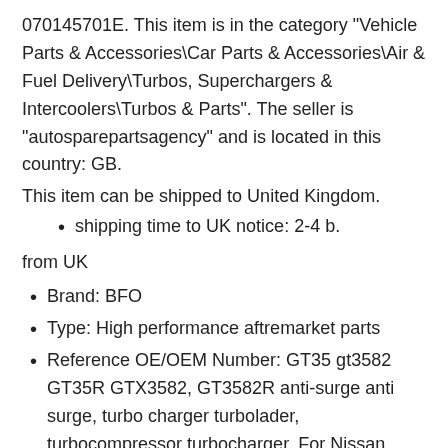070145701E. This item is in the category "Vehicle Parts & Accessories\Car Parts & Accessories\Air & Fuel Delivery\Turbos, Superchargers & Intercoolers\Turbos & Parts". The seller is "autosparepartsagency" and is located in this country: GB.
This item can be shipped to United Kingdom.
shipping time to UK notice: 2-4 b.
from UK
Brand: BFO
Type: High performance aftremarket parts
Reference OE/OEM Number: GT35 gt3582 GT35R GTX3582, GT3582R anti-surge anti surge, turbo charger turbolader, turbocompressor turbocharger, For Nissan Patrol GR GQ Y60 4.2 L TD42, Water + Oil, TD42TB42, TD45TB45, TD42T1, TURBOCHARGER MANIFOLD,  for Nissan Safari / Patrol 4.2L TD42   TB42, TB45, TD45
Other Part Number: Perfect for all 4/6 cylinder and